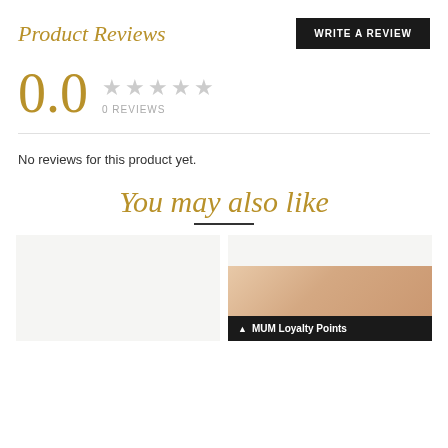Product Reviews
WRITE A REVIEW
0.0
0 REVIEWS
No reviews for this product yet.
You may also like
[Figure (photo): Two product cards side by side. Left card has a light grey background. Right card shows a peach/skin-tone gradient image with a black loyalty points bar at the bottom reading 'MUM Loyalty Points'.]